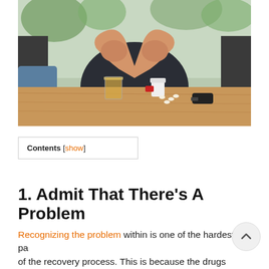[Figure (photo): A person sitting at a wooden table with their head in their hands, a glass of whiskey and prescription pill bottles with scattered pills and car keys on the table in front of them. Background shows a window with green plants.]
Contents [show]
1. Admit That There’s A Problem
Recognizing the problem within is one of the hardest pa of the recovery process. This is because the drugs force the mind to place justifications and ...